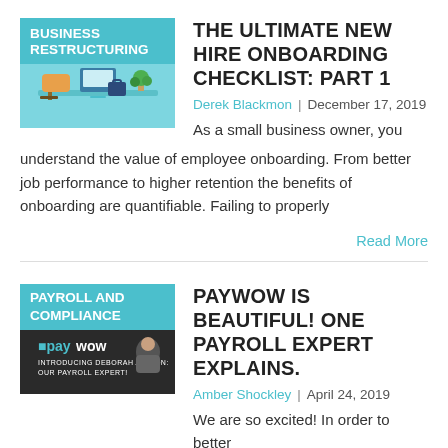[Figure (illustration): Business Restructuring thumbnail with desk illustration on teal background]
THE ULTIMATE NEW HIRE ONBOARDING CHECKLIST: PART 1
Derek Blackmon  |  December 17, 2019
As a small business owner, you understand the value of employee onboarding. From better job performance to higher retention the benefits of onboarding are quantifiable. Failing to properly
Read More
[Figure (illustration): Payroll and Compliance thumbnail with PayWow payroll expert Deborah Alston on dark background]
PAYWOW IS BEAUTIFUL! ONE PAYROLL EXPERT EXPLAINS.
Amber Shockley  |  April 24, 2019
We are so excited!  In order to better serve our clients, PayWow has recently hired payroll expert Deborah Alston. We're really digging her, and it sounds like the
Read More